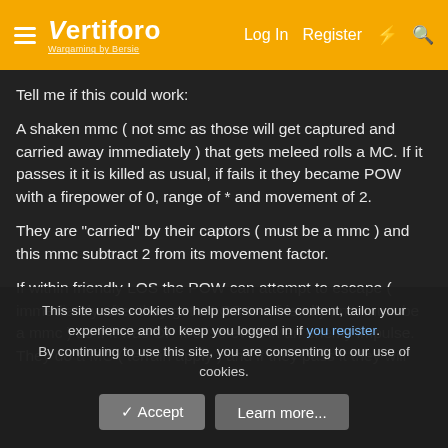Vertiforo — Log In   Register
Tell me if this could work:
A shaken mmc ( not smc as those will get captured and carried away immediately ) that gets meleed rolls a MC. If it passes it it is killed as usual, if fails it they became POW with a firepower of 0, range of * and movement of 2.
They are "carried" by their captors ( must be a mmc ) and this mmc subtract 2 from its movement factor.
If within friendly LOS the POW can attempt to escape ( immediately after they get a LOS to a friendly unit, must be a mmc ) as if it was OP fire, so even in an enemy impulse. They do a MC ( terrain apply ) and if they pass it they will
This site uses cookies to help personalise content, tailor your experience and to keep you logged in if you register.
By continuing to use this site, you are consenting to our use of cookies.